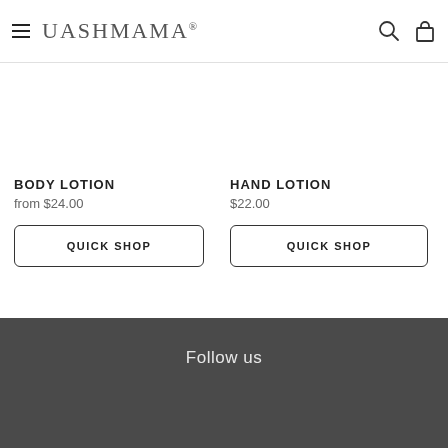UASHMAMA®
BODY LOTION
from $24.00
QUICK SHOP
HAND LOTION
$22.00
QUICK SHOP
Follow us